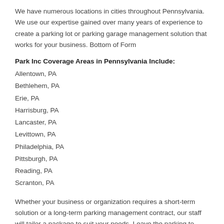We have numerous locations in cities throughout Pennsylvania. We use our expertise gained over many years of experience to create a parking lot or parking garage management solution that works for your business. Bottom of Form
Park Inc Coverage Areas in Pennsylvania Include:
Allentown, PA
Bethlehem, PA
Erie, PA
Harrisburg, PA
Lancaster, PA
Levittown, PA
Philadelphia, PA
Pittsburgh, PA
Reading, PA
Scranton, PA
Whether your business or organization requires a short-term solution or a long-term parking management contract, our staff will tailor a package to suit your needs. Leave the parking to Park Inc.